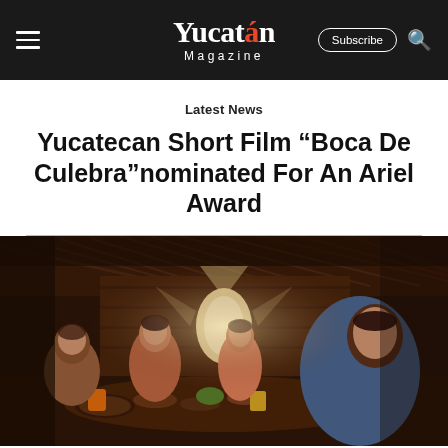Yucatán Magazine — Subscribe | Search
Latest News
Yucatecan Short Film “Boca De Culebra”nominated For An Ariel Award
[Figure (photo): Scene from the short film Boca De Culebra showing a family of four people sitting around a table inside a rustic thatched-roof hut, with dim warm lighting and a bright window in the background.]